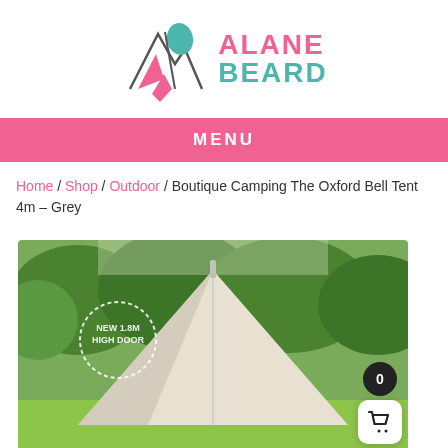[Figure (logo): Alane Beard brand logo with geometric mountain/diamond shapes in pink and teal, with text ALANE BEARD]
MENU
Home / Shop / Outdoor / Boutique Camping The Oxford Bell Tent 4m – Grey
[Figure (photo): A bell tent (white canvas) pitched outdoors in a green field with trees in background. A stamp reads NEW 1.8M HIGH DOOR. A shopping cart icon with badge 0 is visible in the bottom right corner.]